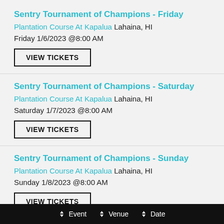Sentry Tournament of Champions - Friday
Plantation Course At Kapalua Lahaina, HI
Friday 1/6/2023 @8:00 AM
VIEW TICKETS
Sentry Tournament of Champions - Saturday
Plantation Course At Kapalua Lahaina, HI
Saturday 1/7/2023 @8:00 AM
VIEW TICKETS
Sentry Tournament of Champions - Sunday
Plantation Course At Kapalua Lahaina, HI
Sunday 1/8/2023 @8:00 AM
VIEW TICKETS
Event  Venue  Date